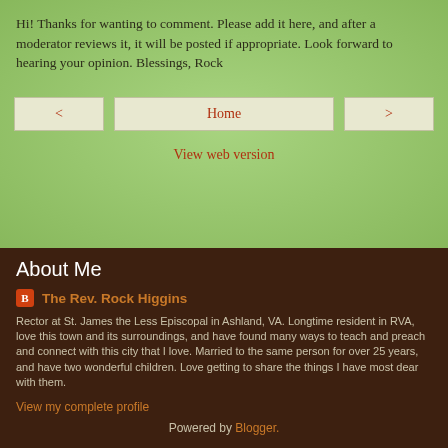Hi! Thanks for wanting to comment. Please add it here, and after a moderator reviews it, it will be posted if appropriate. Look forward to hearing your opinion. Blessings, Rock
< Home > View web version
About Me
The Rev. Rock Higgins
Rector at St. James the Less Episcopal in Ashland, VA. Longtime resident in RVA, love this town and its surroundings, and have found many ways to teach and preach and connect with this city that I love. Married to the same person for over 25 years, and have two wonderful children. Love getting to share the things I have most dear with them.
View my complete profile
Powered by Blogger.